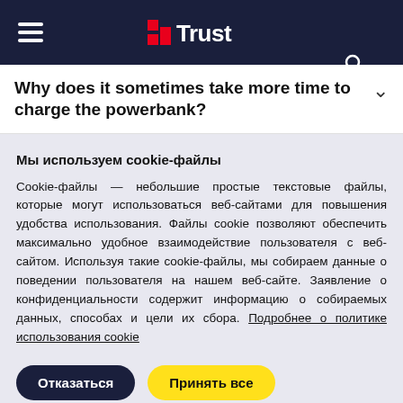Trust (logo header with hamburger menu and search icon)
Why does it sometimes take more time to charge the powerbank?
Мы используем cookie-файлы
Cookie-файлы — небольшие простые текстовые файлы, которые могут использоваться веб-сайтами для повышения удобства использования. Файлы cookie позволяют обеспечить максимально удобное взаимодействие пользователя с веб-сайтом. Используя такие cookie-файлы, мы собираем данные о поведении пользователя на нашем веб-сайте. Заявление о конфиденциальности содержит информацию о собираемых данных, способах и цели их сбора. Подробнее о политике использования cookie
Отказаться | Принять все
Настройки файлов cookie